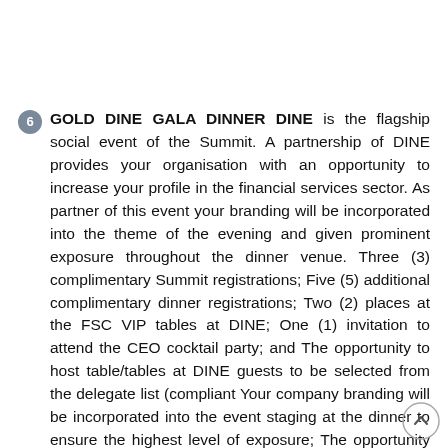6 GOLD DINE GALA DINNER DINE is the flagship social event of the Summit. A partnership of DINE provides your organisation with an opportunity to increase your profile in the financial services sector. As partner of this event your branding will be incorporated into the theme of the evening and given prominent exposure throughout the dinner venue. Three (3) complimentary Summit registrations; Five (5) additional complimentary dinner registrations; Two (2) places at the FSC VIP tables at DINE; One (1) invitation to attend the CEO cocktail party; and The opportunity to host table/tables at DINE guests to be selected from the delegate list (compliant Your company branding will be incorporated into the event staging at the dinner to ensure the highest level of exposure; The opportunity to provide a branded gift or branded literature on the dinner tables; The opportunity to place your company branding/banners at the dinner venue, throughout the conference venue; and on Summit